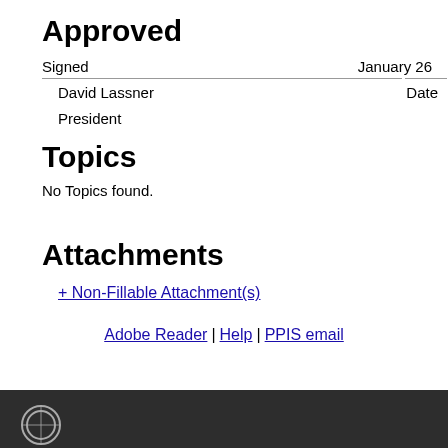Approved
Signed
January 26
David Lassner
Date
President
Topics
No Topics found.
Attachments
+ Non-Fillable Attachment(s)
Adobe Reader | Help | PPIS email
University of Hawaii